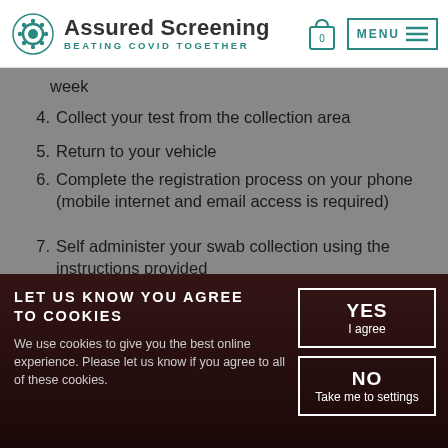Assured Screening — BEATING COVID TOGETHER
week
4. Collect your test from the collection area
5. Return to your vehicle
6. Complete the registration process on your phone (mobile internet and email access is required)
7. Self administer your swab collection using the instructions provided
8. Drop the completed sample into the drop box
9. Result provided typically within 24 hours via email
Note, this product is not suitable for Test to Release
LET US KNOW YOU AGREE TO COOKIES
We use cookies to give you the best online experience. Please let us know if you agree to all of these cookies.
YES I agree
NO Take me to settings